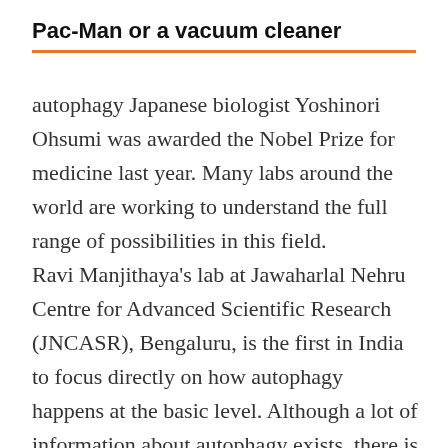Pac-Man or a vacuum cleaner
autophagy Japanese biologist Yoshinori Ohsumi was awarded the Nobel Prize for medicine last year. Many labs around the world are working to understand the full range of possibilities in this field.
Ravi Manjithaya's lab at Jawaharlal Nehru Centre for Advanced Scientific Research (JNCASR), Bengaluru, is the first in India to focus directly on how autophagy happens at the basic level. Although a lot of information about autophagy exists, there is not much on how fast or slow—the speed, the rate—it